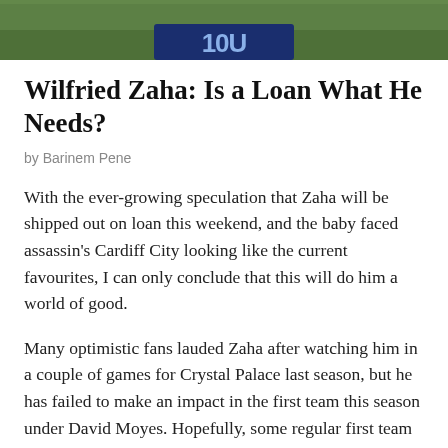[Figure (photo): Cropped photo of a footballer wearing a dark blue jersey, with green grass background visible. Bottom portion of the image shows a blue shirt with text/logo.]
Wilfried Zaha: Is a Loan What He Needs?
by Barinem Pene
With the ever-growing speculation that Zaha will be shipped out on loan this weekend, and the baby faced assassin's Cardiff City looking like the current favourites, I can only conclude that this will do him a world of good.
Many optimistic fans lauded Zaha after watching him in a couple of games for Crystal Palace last season, but he has failed to make an impact in the first team this season under David Moyes. Hopefully, some regular first team football could revitalize him – the